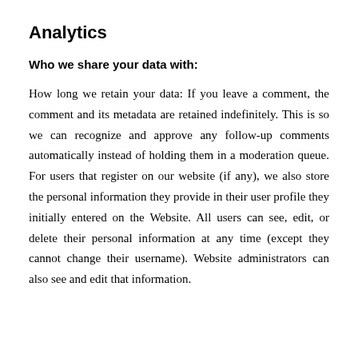Analytics
Who we share your data with:
How long we retain your data: If you leave a comment, the comment and its metadata are retained indefinitely. This is so we can recognize and approve any follow-up comments automatically instead of holding them in a moderation queue. For users that register on our website (if any), we also store the personal information they provide in their user profile they initially entered on the Website. All users can see, edit, or delete their personal information at any time (except they cannot change their username). Website administrators can also see and edit that information.